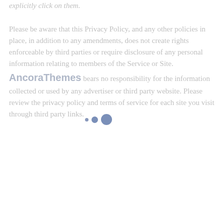explicitly click on them.

Please be aware that this Privacy Policy, and any other policies in place, in addition to any amendments, does not create rights enforceable by third parties or require disclosure of any personal information relating to members of the Service or Site. AncoraThemes bears no responsibility for the information collected or used by any advertiser or third party website. Please review the privacy policy and terms of service for each site you visit through third party links.